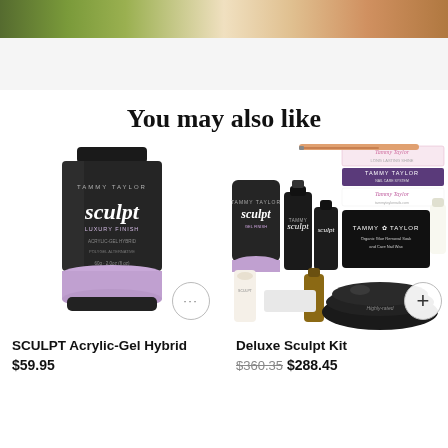[Figure (photo): Top strip showing partial face/nature background image]
You may also like
[Figure (photo): SCULPT Acrylic-Gel Hybrid product tube by Tammy Taylor — black tube with lavender bottom]
SCULPT Acrylic-Gel Hybrid
$59.95
[Figure (photo): Deluxe Sculpt Kit by Tammy Taylor — multiple nail products including tubes, bottles, brush, lamp, and box]
Deluxe Sculpt Kit
$360.35 $288.45